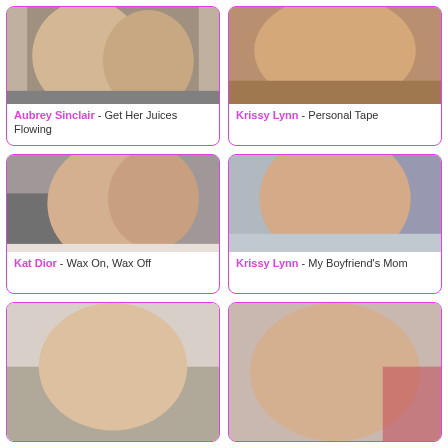[Figure (photo): Two blonde women posing together]
Aubrey Sinclair - Get Her Juices Flowing
[Figure (photo): Woman reclining on brown surface]
Krissy Lynn - Personal Tape
[Figure (photo): Two women embracing near a fireplace]
Kat Dior - Wax On, Wax Off
[Figure (photo): Woman on bed in bedroom]
Krissy Lynn - My Boyfriend's Mom
[Figure (photo): Blonde woman on white couch]
[Figure (photo): Blonde woman close up portrait]